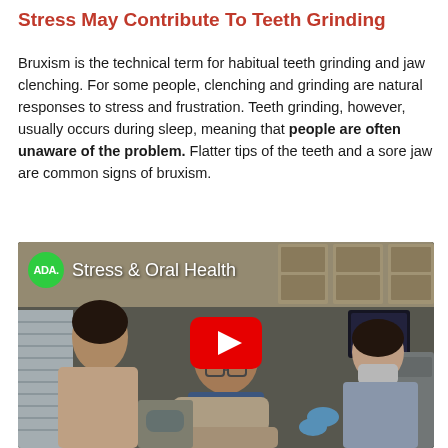Stress May Contribute To Teeth Grinding
Bruxism is the technical term for habitual teeth grinding and jaw clenching. For some people, clenching and grinding are natural responses to stress and frustration. Teeth grinding, however, usually occurs during sleep, meaning that people are often unaware of the problem. Flatter tips of the teeth and a sore jaw are common signs of bruxism.
[Figure (screenshot): YouTube video thumbnail showing a dental office scene with three people: a female doctor, a male patient in a dental chair, and a dental assistant wearing a mask. The video is from ADA (American Dental Association) titled 'Stress & Oral Health'. A red YouTube play button is centered on the thumbnail.]